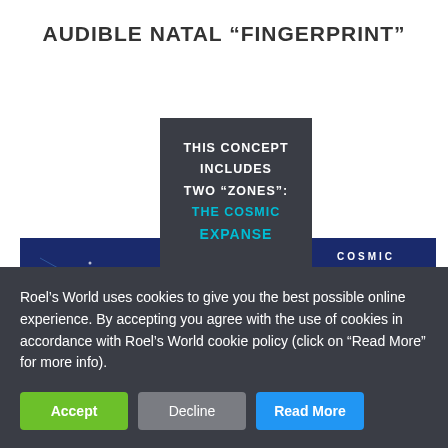AUDIBLE NATAL "FINGERPRINT"
[Figure (illustration): Dark gray card with white and cyan text reading: THIS CONCEPT INCLUDES TWO "ZONES": The COSMIC EXPANSE]
[Figure (photo): Left book cover with dark blue background showing constellation/star chart design]
[Figure (photo): Right book cover with dark blue background showing COSMIC text and circular design]
Roel's World uses cookies to give you the best possible online experience. By accepting you agree with the use of cookies in accordance with Roel's World cookie policy (click on "Read More" for more info).
Accept
Decline
Read More